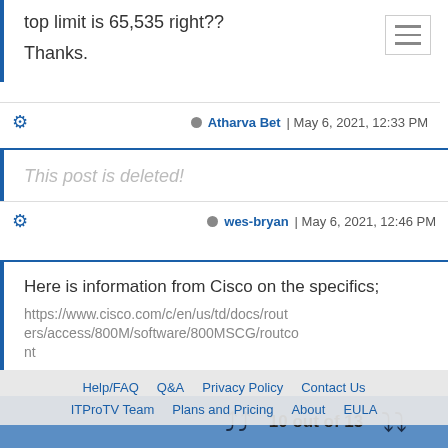top limit is 65,535 right??
Thanks.
Atharva Bet | May 6, 2021, 12:33 PM
This post is deleted!
wes-bryan | May 6, 2021, 12:46 PM
Here is information from Cisco on the specifics;
https://www.cisco.com/c/en/us/td/docs/routers/access/800M/software/800MSCG/routcont
Help/FAQ   Q&A   Privacy Policy   Contact Us   ITProTV Team   Plans and Pricing   About   EULA
10 out of 13